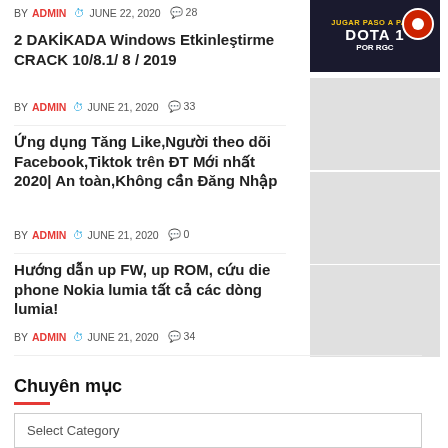BY ADMIN · JUNE 22, 2020 · 28
[Figure (photo): Promotional image for DOTA 1 by RGC with text JUGAR PASO A PASO DOTA 1 POR RGC]
2 DAKİKADA Windows Etkinleştirme CRACK 10/8.1/ 8 / 2019
BY ADMIN · JUNE 21, 2020 · 33
[Figure (photo): Thumbnail image placeholder (gray)]
Ứng dụng Tăng Like,Người theo dõi Facebook,Tiktok trên ĐT Mới nhất 2020| An toàn,Không cần Đăng Nhập
BY ADMIN · JUNE 21, 2020 · 0
[Figure (photo): Thumbnail image placeholder (gray)]
Hướng dẫn up FW, up ROM, cứu die phone Nokia lumia tất cả các dòng lumia!
BY ADMIN · JUNE 21, 2020 · 34
[Figure (photo): Thumbnail image placeholder (gray)]
Chuyên mục
Select Category